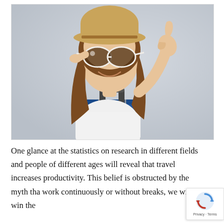[Figure (photo): A smiling young woman with long brown hair, wearing a straw hat, white sunglasses (pulled down slightly), and a white top. She gives a thumbs-up gesture with her right hand. In front of her is a blue rolling suitcase with a retractable handle. The background is light grey.]
One glance at the statistics on research in different fields and people of different ages will reveal that travel increases productivity. This belief is obstructed by the myth tha work continuously or without breaks, we will win the